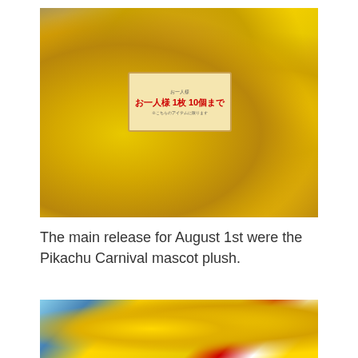[Figure (photo): A large pile of Pikachu Carnival mascot plush toys in a store, with a sign in Japanese reading per-person purchase limit of 10 items, and various Pikachu plushies in different costumes heaped on display tables.]
The main release for August 1st were the Pikachu Carnival mascot plush.
[Figure (photo): Close-up view of Pikachu Carnival mascot plush toys displayed together, showing yellow Pikachu plushies with various accessories and costume details, along with some blue Pokemon plush toys.]